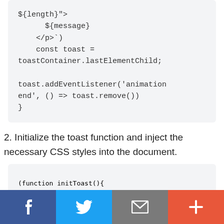[Figure (screenshot): Code block showing JavaScript: ${length}> with ${message}, </p>`) const toast = toastContainer.lastElementChild; toast.addEventListener('animationend', () => toast.remove()) }]
2. Initialize the toast function and inject the necessary CSS styles into the document.
[Figure (screenshot): Code block showing JavaScript: (function initToast(){]